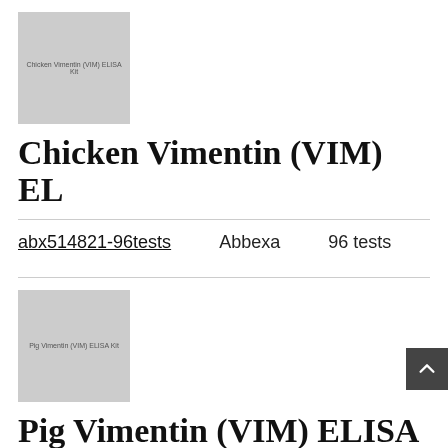[Figure (photo): Gray placeholder image for Chicken Vimentin (VIM) ELISA Kit]
Chicken Vimentin (VIM) ELISA Kit
| Catalog | Supplier | Size |
| --- | --- | --- |
| abx514821-96tests | Abbexa | 96 tests |
[Figure (photo): Gray placeholder image for Pig Vimentin (VIM) ELISA Kit]
Pig Vimentin (VIM) ELISA Kit
| Catalog | Supplier | Size |
| --- | --- | --- |
| abx514824-96tests | Abbexa | 96 tests |